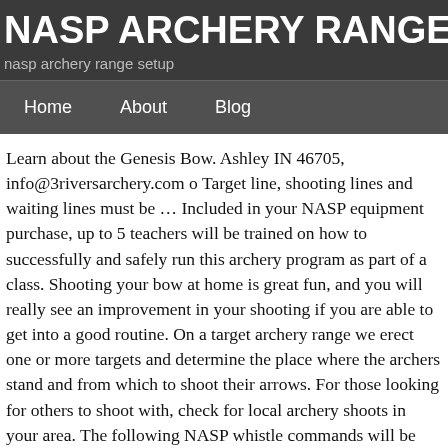NASP ARCHERY RANGE
nasp archery range setup
Home   About   Blog
Learn about the Genesis Bow. Ashley IN 46705, info@3riversarchery.com o Target line, shooting lines and waiting lines must be … Included in your NASP equipment purchase, up to 5 teachers will be trained on how to successfully and safely run this archery program as part of a class. Shooting your bow at home is great fun, and you will really see an improvement in your shooting if you are able to get into a good routine. On a target archery range we erect one or more targets and determine the place where the archers stand and from which to shoot their arrows. For those looking for others to shoot with, check for local archery shoots in your area. The following NASP whistle commands will be used to operate the range: 5+ whistles for an emergency If you here this, you must stop and